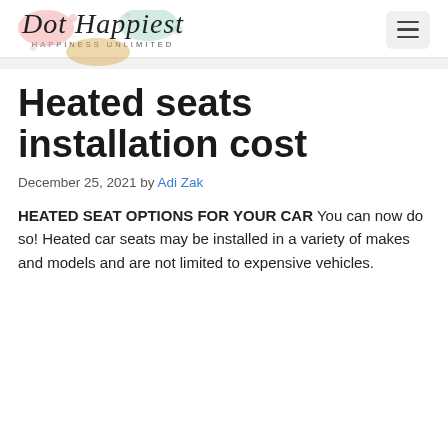[Figure (logo): Dot Happiest logo with colorful paint splatter background and tagline HAPPINESS UNLIMITED]
Heated seats installation cost
December 25, 2021 by Adi Zak
HEATED SEAT OPTIONS FOR YOUR CAR You can now do so! Heated car seats may be installed in a variety of makes and models and are not limited to expensive vehicles.